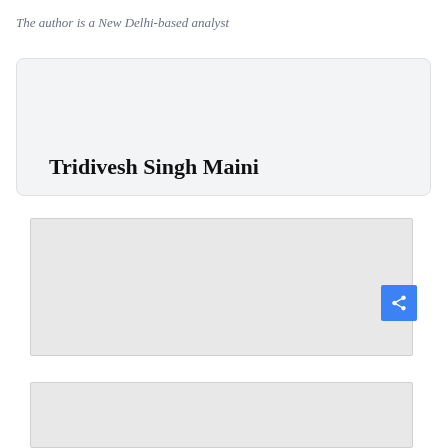The author is a New Delhi-based analyst
Follow
Tridivesh Singh Maini
[Figure (other): Advertisement or content block placeholder, gray rectangle]
[Figure (other): Advertisement or content block placeholder, gray rectangle, partially visible]